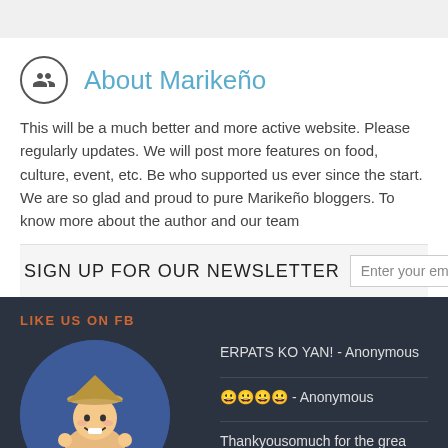About Marikeño
This will be a much better and more active website. Please regularly updates. We will post more features on food, culture, event, etc. B who supported us ever since the start. We are so glad and proud to pure Marikeño bloggers. To know more about the author and our te
SIGN UP FOR OUR NEWSLETTER   Enter your email address
LIKE US ON FB
[Figure (illustration): Circular avatar with cartoon Filipino character wearing a salakot hat, on a blue background with stylized text]
ERPATS KO YAN! - Anonymous
😀😀😀😀 - Anonymous
Thankyousomuch for the grea information po,